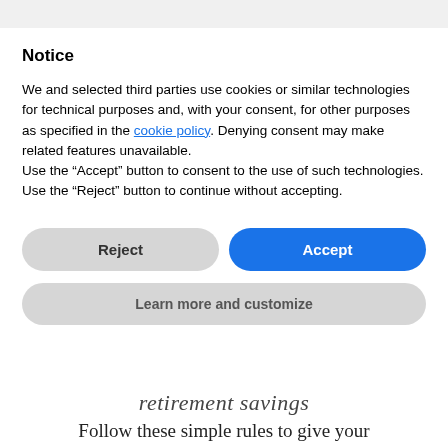Notice
We and selected third parties use cookies or similar technologies for technical purposes and, with your consent, for other purposes as specified in the cookie policy. Denying consent may make related features unavailable.
Use the “Accept” button to consent to the use of such technologies. Use the “Reject” button to continue without accepting.
Reject
Accept
Learn more and customize
retirement savings
Follow these simple rules to give your